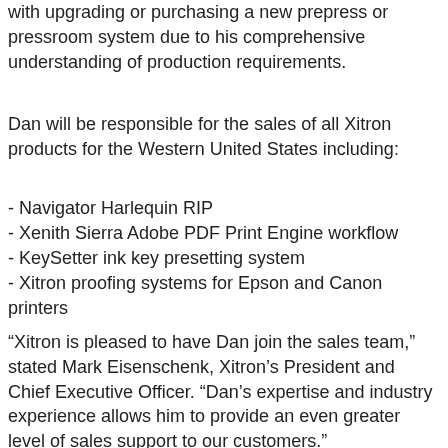with upgrading or purchasing a new prepress or pressroom system due to his comprehensive understanding of production requirements.
Dan will be responsible for the sales of all Xitron products for the Western United States including:
- Navigator Harlequin RIP
- Xenith Sierra Adobe PDF Print Engine workflow
- KeySetter ink key presetting system
- Xitron proofing systems for Epson and Canon printers
“Xitron is pleased to have Dan join the sales team,” stated Mark Eisenschenk, Xitron’s President and Chief Executive Officer. “Dan’s expertise and industry experience allows him to provide an even greater level of sales support to our customers.”